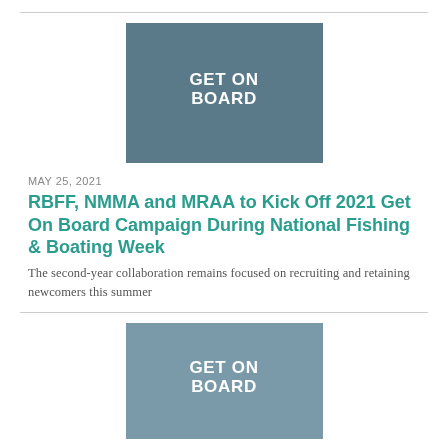[Figure (photo): Aerial view of a boat with 'GET ON BOARD' text written on it]
MAY 25, 2021
RBFF, NMMA and MRAA to Kick Off 2021 Get On Board Campaign During National Fishing & Boating Week
The second-year collaboration remains focused on recruiting and retaining newcomers this summer
[Figure (photo): Mother and child on a boat with 'GET ON BOARD' text in background]
MAY 13, 2021
Get on Board Launches with a Public...